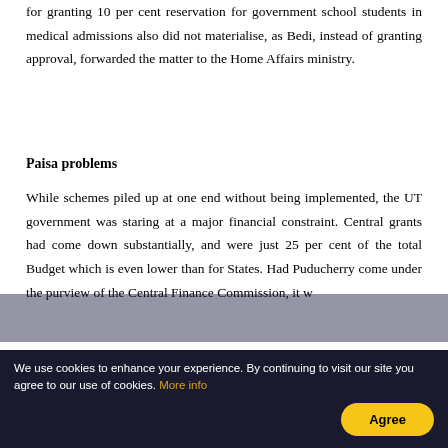for granting 10 per cent reservation for government school students in medical admissions also did not materialise, as Bedi, instead of granting approval, forwarded the matter to the Home Affairs ministry.
Paisa problems
While schemes piled up at one end without being implemented, the UT government was staring at a major financial constraint. Central grants had come down substantially, and were just 25 per cent of the total Budget which is even lower than for States. Had Puducherry come under the purview of the Central Finance Commission, it w...
We use cookies to enhance your experience. By continuing to visit our site you agree to our use of cookies. More info